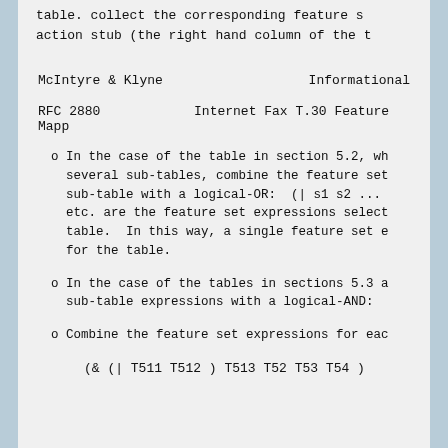table.  collect the corresponding feature s action stub (the right hand column of the t
McIntyre & Klyne                    Informational
RFC 2880            Internet Fax T.30 Feature Mapp
In the case of the table in section 5.2, wh several sub-tables, combine the feature set sub-table with a logical-OR:  (| s1 s2 ... etc. are the feature set expressions select table.  In this way, a single feature set e for the table.
In the case of the tables in sections 5.3 a sub-table expressions with a logical-AND:
Combine the feature set expressions for eac